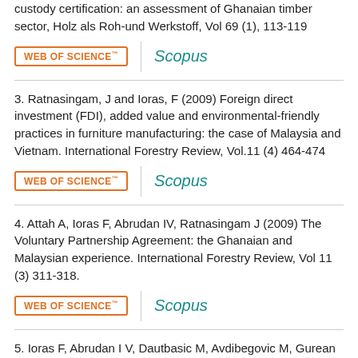custody certification: an assessment of Ghanaian timber sector, Holz als Roh-und Werkstoff, Vol 69 (1), 113-119
3. Ratnasingam, J and Ioras, F (2009) Foreign direct investment (FDI), added value and environmental-friendly practices in furniture manufacturing: the case of Malaysia and Vietnam. International Forestry Review, Vol.11 (4) 464-474
4. Attah A, Ioras F, Abrudan IV, Ratnasingam J (2009) The Voluntary Partnership Agreement: the Ghanaian and Malaysian experience. International Forestry Review, Vol 11 (3) 311-318.
5. Ioras F, Abrudan I V, Dautbasic M, Avdibegovic M, Gurean D, Ratnasingam J (2009) Conservation gains through HCVF assessments in Bosnia-Herzegovina and Romania. Biodiversity: